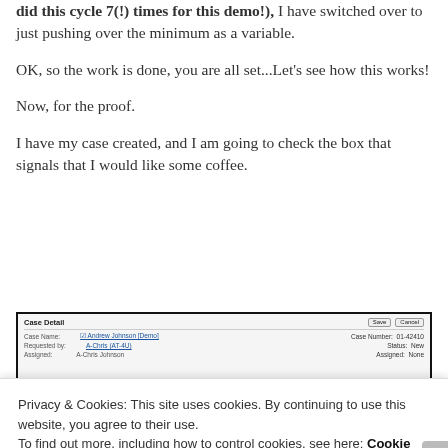did this cycle 7(!) times for this demo!), I have switched over to just pushing over the minimum as a variable.
OK, so the work is done, you are all set...Let's see how this works!
Now, for the proof.
I have my case created, and I am going to check the box that signals that I would like some coffee.
[Figure (screenshot): A case detail form screenshot showing fields like Case Name, Requested by, and status information on the right side.]
Privacy & Cookies: This site uses cookies. By continuing to use this website, you agree to their use.
To find out more, including how to control cookies, see here: Cookie Policy
Close and accept